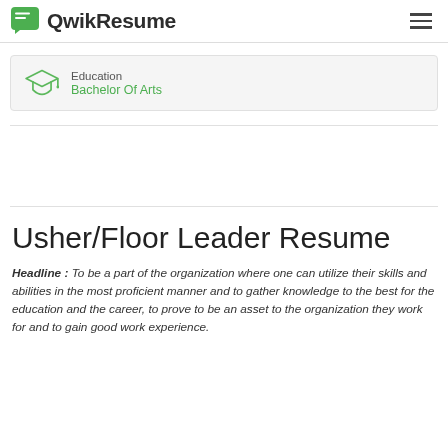QwikResume
Education
Bachelor Of Arts
Usher/Floor Leader Resume
Headline : To be a part of the organization where one can utilize their skills and abilities in the most proficient manner and to gather knowledge to the best for the education and the career, to prove to be an asset to the organization they work for and to gain good work experience.